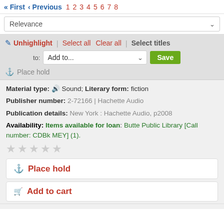« First  < Previous  1  2  3  4  5  6  7  8
Relevance
✏ Unhighlight | Select all  Clear all | Select titles to: Add to... Save
🔖 Place hold
Material type: 🔊 Sound; Literary form: fiction
Publisher number: 2-72166 | Hachette Audio
Publication details: New York : Hachette Audio, p2008
Availability: Items available for loan: Butte Public Library [Call number: CDBk MEY] (1).
★★★★★
🔖 Place hold
🛒 Add to cart